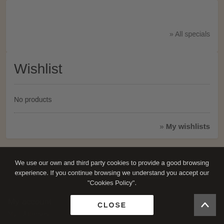» All specials
Wishlist
No products
» My wishlists
[Figure (other): Social media icons: Facebook, Twitter, Google+, YouTube]
My account
My addresses
We use our own and third party cookies to provide a good browsing experience. If you continue browsing we understand you accept our "Cookies Policy".
CLOSE